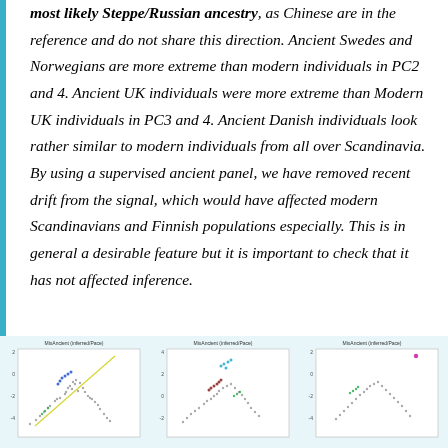most likely Steppe/Russian ancestry, as Chinese are in the reference and do not share this direction. Ancient Swedes and Norwegians are more extreme than modern individuals in PC2 and 4. Ancient UK individuals were more extreme than Modern UK individuals in PC3 and 4. Ancient Danish individuals look rather similar to modern individuals from all over Scandinavia. By using a supervised ancient panel, we have removed recent drift from the signal, which would have affected modern Scandinavians and Finnish populations especially. This is in general a desirable feature but it is important to check that it has not affected inference.
[Figure (scatter-plot): Three scatter plots labeled 'MixAncient (inferred/Pace)' showing PC-based ancestry analysis with colored clusters of individuals]